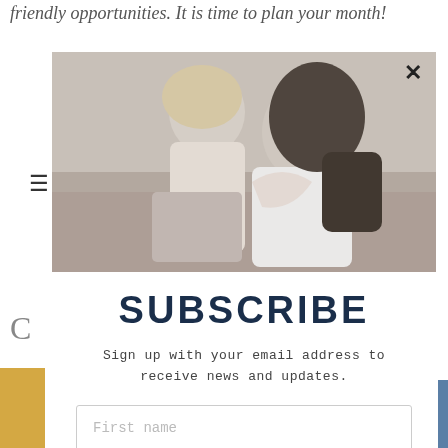friendly opportunities. It is time to plan your month!
[Figure (photo): Grayscale photo of a mother and child embracing on a couch, shown in a modal popup with a close (X) button in the top right corner]
SUBSCRIBE
Sign up with your email address to receive news and updates.
First name